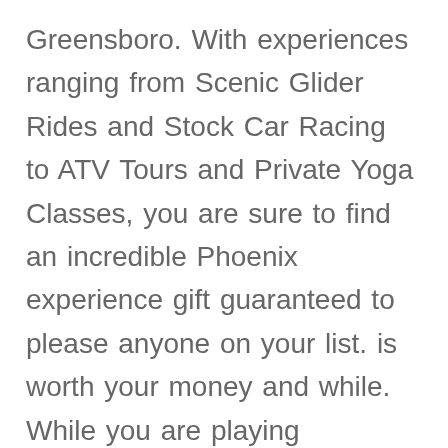Greensboro. With experiences ranging from Scenic Glider Rides and Stock Car Racing to ATV Tours and Private Yoga Classes, you are sure to find an incredible Phoenix experience gift guaranteed to please anyone on your list. is worth your money and while. While you are playing adventure golf. Made